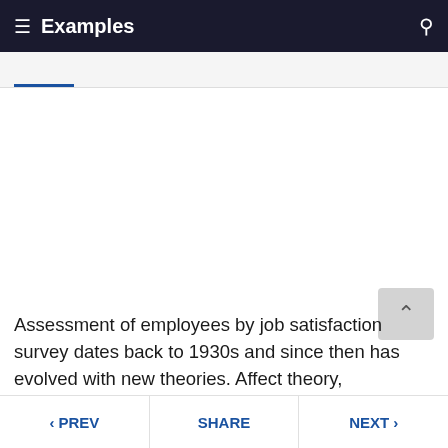≡  Examples   🔍
Assessment of employees by job satisfaction survey dates back to 1930s and since then has evolved with new theories. Affect theory, Dispositional approach, Equity theory,
< PREV   SHARE   NEXT >